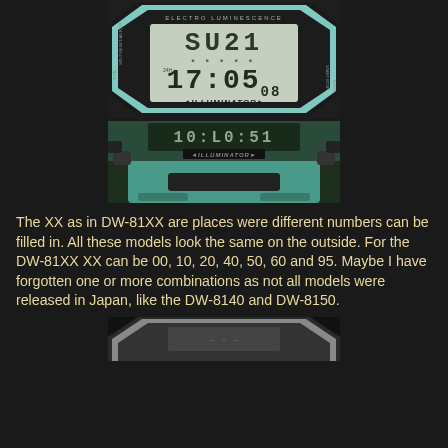[Figure (photo): Close-up of a Casio DW-81XX watch face showing digital display with 'SU21' on top row and '17:05:08' time, labeled 'ILLUMINATOR' at bottom, teal bezel]
[Figure (photo): Close-up of a Casio DW-81XX watch bottom showing 'ILLUMINATOR' label, teal/green casing, buttons visible on sides]
The XX as in DW-81XX are places were different numbers can be filled in. All these models look the same on the outside. For the DW-81XX XX can be 00, 10, 20, 40, 50, 60 and 95. Maybe I have forgotten one or more combinations as not all models were released in Japan, like the DW-8140 and DW-8150.
[Figure (photo): Partial view of another Casio DW-81XX watch, dark background, partially cropped at bottom of page]